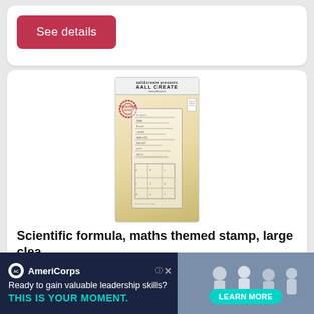See details
[Figure (photo): Product image of a scientific formula maths themed stamp packaging, tall narrow format with decorative background, AALL & CREATE branding at top, circular seal/logo, and stamp designs showing mathematical formulas and equations]
Scientific formula, maths themed stamp, large clea
Proform hiit 2 in 1 elliptical + stepper
er. Scientific formula, maths runs great
[Figure (photo): AmeriCorps advertisement banner: dark navy background with AmeriCorps logo, text 'Ready to gain valuable leadership skills? THIS IS YOUR MOMENT.' with a teal LEARN MORE button and photo of people on the right side]